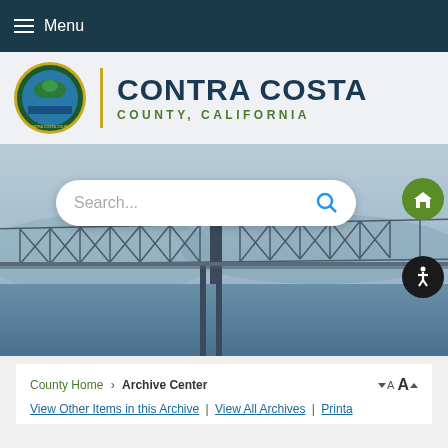Menu
[Figure (logo): Contra Costa County, California seal and wordmark logo]
[Figure (photo): Hero banner photo of a large steel truss bridge over water with mountains in the background, with a search bar overlay, home button, and accessibility button]
County Home › Archive Center
View Other Items in this Archive | View All Archives | Printab...